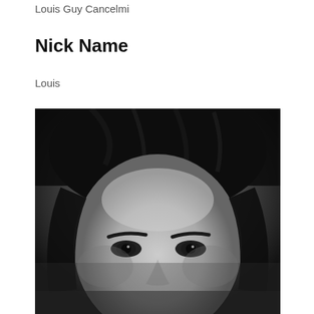Louis Guy Cancelmi
Nick Name
Louis
[Figure (photo): Black and white close-up portrait photograph of a young man with dark curly hair and dark eyes, looking slightly to the side.]